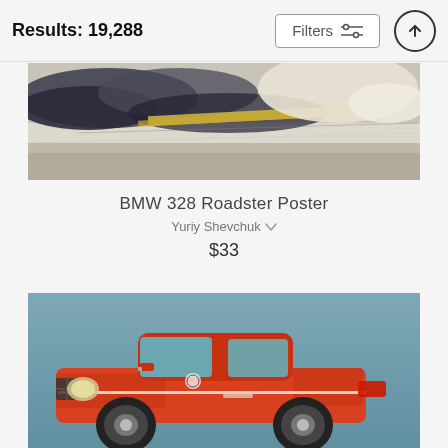Results: 19,288
[Figure (illustration): Abstract painting showing dark brushstrokes, white and yellow tones, resembling a racing or motion scene]
BMW 328 Roadster Poster
Yuriy Shevchuk
$33
[Figure (illustration): Painted illustration of a red/orange classic BMW 2002 sedan on a blue-grey background, retro pop-art style]